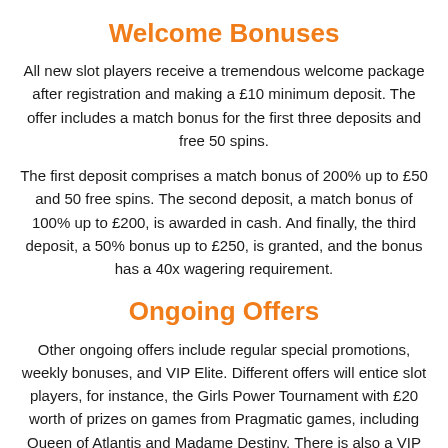Welcome Bonuses
All new slot players receive a tremendous welcome package after registration and making a £10 minimum deposit. The offer includes a match bonus for the first three deposits and free 50 spins.
The first deposit comprises a match bonus of 200% up to £50 and 50 free spins. The second deposit, a match bonus of 100% up to £200, is awarded in cash. And finally, the third deposit, a 50% bonus up to £250, is granted, and the bonus has a 40x wagering requirement.
Ongoing Offers
Other ongoing offers include regular special promotions, weekly bonuses, and VIP Elite. Different offers will entice slot players, for instance, the Girls Power Tournament with £20 worth of prizes on games from Pragmatic games, including Queen of Atlantis and Madame Destiny. There is also a VIP program where slot players are enrolled, and they can enjoy faster withdrawal times, higher